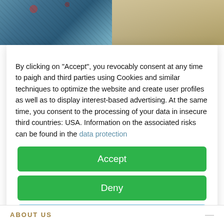[Figure (photo): Two fashion photos side by side: left shows a woman in a blue patterned outfit, right shows a figure in beige/cream clothing with decorative background]
By clicking on "Accept", you revocably consent at any time to paigh and third parties using Cookies and similar techniques to optimize the website and create user profiles as well as to display interest-based advertising. At the same time, you consent to the processing of your data in insecure third countries: USA. Information on the associated risks can be found in the data protection
Accept
Deny
more
Powered by   usercentrics  &  TRUSTED SHOPS
ABOUT US